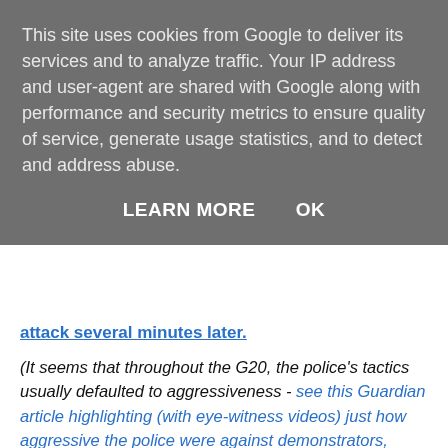This site uses cookies from Google to deliver its services and to analyze traffic. Your IP address and user-agent are shared with Google along with performance and security metrics to ensure quality of service, generate usage statistics, and to detect and address abuse.
LEARN MORE    OK
attack several minutes later.
(It seems that throughout the G20, the police's tactics usually defaulted to aggressiveness - see this Guardian article highlighting (with eye-witness videos) just how aggressive the police were against demonstrators, mostly peaceful ones at that. Very poignant viewing.)
The Met Police subsequently issued disingenuous press releases, falsely stating things such as how protesters prevented medics from giving Mr. Tomlinson medical attention. The Telegraph reports that,
"...the Metropolitan Police had released a statement last week after the death in which they